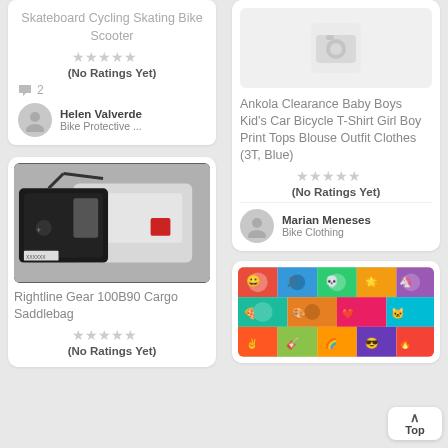Skateboard Cycling Skating Bike Scooter
(No Ratings Yet)
2
Helen Valverde
Bike Protective ...
[Figure (photo): Rightline Gear 100B90 Cargo Saddlebag mounted on back of white SUV]
Rightline Gear 100B90 Cargo Saddlebag
(No Ratings Yet)
[Figure (photo): No image placeholder with camera icon]
Ankola Clearance Baby Boys Kid's Car Bicycle T-Shirt Girl Boy Print Tops Blouse Outfit Clothes (3T, Blue)
(No Ratings Yet)
Marian Meneses
Bike Clothing
[Figure (photo): Colorful sticker pack with various cartoon and pop culture stickers]